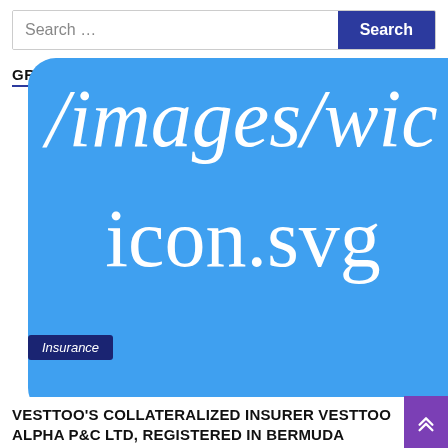Search ...  Search
GRID POSTS/NEWS
[Figure (other): Broken image placeholder showing file path text '/images/wic icon.svg' rendered in large white italic serif font on a bright blue rounded rectangle background]
Insurance
VESTTOO'S COLLATERALIZED INSURER VESTTOO ALPHA P&C LTD, REGISTERED IN BERMUDA